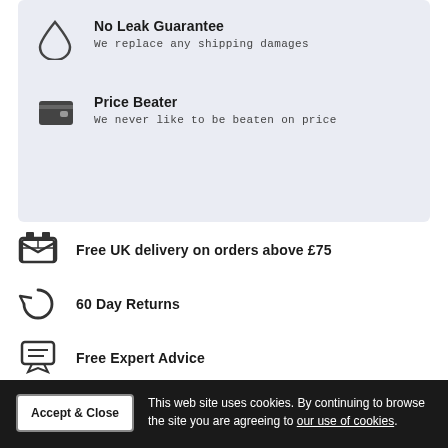No Leak Guarantee
We replace any shipping damages
Price Beater
We never like to be beaten on price
Free UK delivery on orders above £75
60 Day Returns
Free Expert Advice
No Leak Guarantee
This web site uses cookies. By continuing to browse the site you are agreeing to our use of cookies.